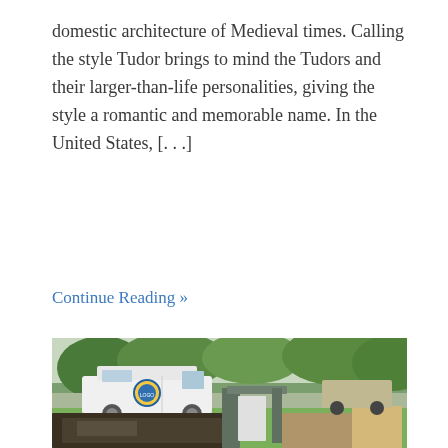domestic architecture of Medieval times. Calling the style Tudor brings to mind the Tudors and their larger-than-life personalities, giving the style a romantic and memorable name. In the United States, [. . .]
Continue Reading »
[Figure (photo): Outdoor photo showing a white service van with a company logo parked on a lawn, with various equipment and debris scattered in the foreground, trees and another vehicle visible in the background.]